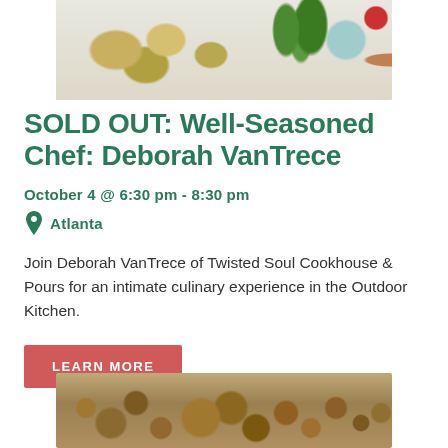[Figure (photo): Top portion of food/vegetable flat-lay photo showing vegetables, potatoes, herbs on a wooden board with a red pepper sauce bowl]
SOLD OUT: Well-Seasoned Chef: Deborah VanTrece
October 4 @ 6:30 pm - 8:30 pm
Atlanta
Join Deborah VanTrece of Twisted Soul Cookhouse & Pours for an intimate culinary experience in the Outdoor Kitchen.
LEARN MORE
[Figure (photo): Bottom portion showing roasted or raw onions and small potatoes, golden-brown tones]